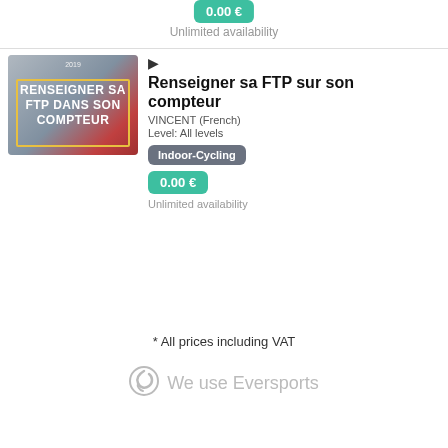0.00 €
Unlimited availability
[Figure (photo): Thumbnail image showing a card with bold white text reading 'RENSEIGNER SA FTP DANS SON COMPTEUR' on a grey/red background with yellow border]
Renseigner sa FTP sur son compteur
VINCENT (French)
Level: All levels
Indoor-Cycling
0.00 €
Unlimited availability
* All prices including VAT
We use Eversports